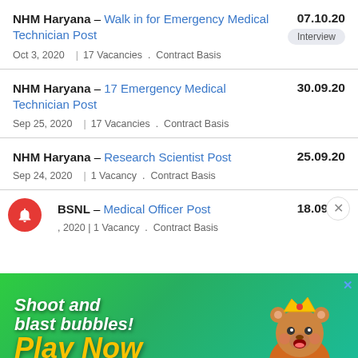NHM Haryana – Walk in for Emergency Medical Technician Post | 07.10.20 | Interview | Oct 3, 2020 | 17 Vacancies . Contract Basis
NHM Haryana – 17 Emergency Medical Technician Post | 30.09.20 | Sep 25, 2020 | 17 Vacancies . Contract Basis
NHM Haryana – Research Scientist Post | 25.09.20 | Sep 24, 2020 | 1 Vacancy . Contract Basis
BSNL – Medical Officer Post | 18.09.20 | 2020 | 1 Vacancy . Contract Basis
[Figure (screenshot): Advertisement banner for a mobile bubble shooter game 'Shoot and blast bubbles! Play Now' with animated bear character]